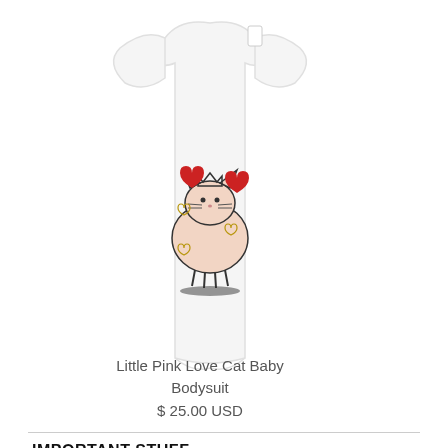[Figure (photo): White baby bodysuit with illustration of a pink cat with black crown, surrounded by red and gold hearts]
Little Pink Love Cat Baby Bodysuit
$ 25.00 USD
IMPORTANT STUFF
[Figure (illustration): Partial illustrations at bottom: striped animal and paper airplane]